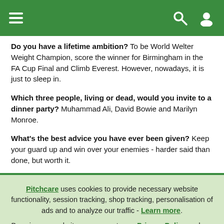Navigation bar with menu, search and user icons
Do you have a lifetime ambition? To be World Welter Weight Champion, score the winner for Birmingham in the FA Cup Final and Climb Everest. However, nowadays, it is just to sleep in.
Which three people, living or dead, would you invite to a dinner party? Muhammad Ali, David Bowie and Marilyn Monroe.
What's the best advice you have ever been given? Keep your guard up and win over your enemies - harder said than done, but worth it.
Pitchcare uses cookies to provide necessary website functionality, session tracking, shop tracking, personalisation of ads and to analyze our traffic - Learn more. By using our website, you agree to our Privacy Policy and our cookies usage.